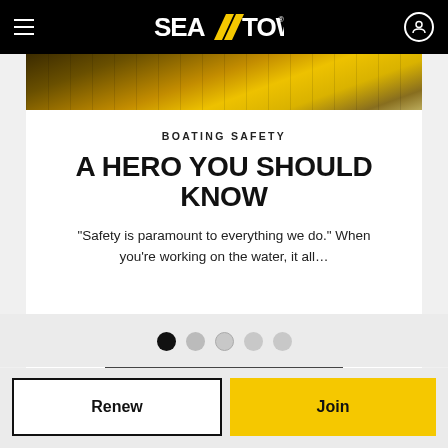SEA TOW navigation bar with hamburger menu and user icon
[Figure (photo): Yellow and dark boat equipment / marina scene image strip]
BOATING SAFETY
A HERO YOU SHOULD KNOW
"Safety is paramount to everything we do." When you're working on the water, it all…
[Figure (infographic): Carousel pagination dots: 5 dots, first one filled black, rest grey]
Renew
Join